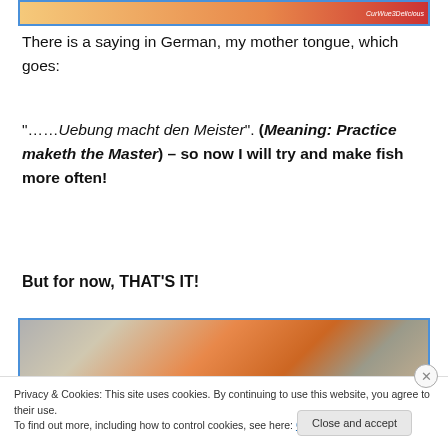[Figure (photo): Top portion of a food photo with orange/yellow colors, partially cropped, with italic text label on right side]
There is a saying in German, my mother tongue, which goes:
“……Uebung macht den Meister”. (Meaning: Practice maketh the Master) – so now I will try and make fish more often!
But for now, THAT’S IT!
[Figure (photo): Food photo showing carrots and fish wrapped in foil]
Privacy & Cookies: This site uses cookies. By continuing to use this website, you agree to their use.
To find out more, including how to control cookies, see here: Cookie Policy